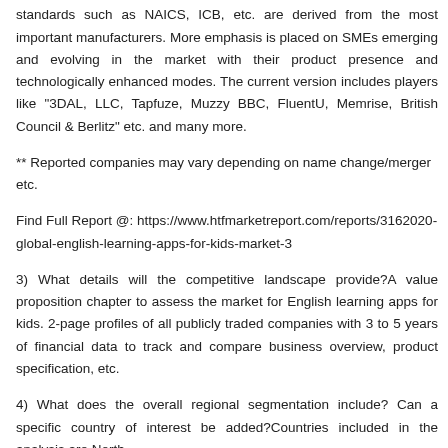2)Why are only a few companies featured in the report?Industry standards such as NAICS, ICB, etc. are derived from the most important manufacturers. More emphasis is placed on SMEs emerging and evolving in the market with their product presence and technologically enhanced modes. The current version includes players like "3DAL, LLC, Tapfuze, Muzzy BBC, FluentU, Memrise, British Council & Berlitz" etc. and many more.
** Reported companies may vary depending on name change/merger etc.
Find Full Report @: https://www.htfmarketreport.com/reports/3162020-global-english-learning-apps-for-kids-market-3
3) What details will the competitive landscape provide?A value proposition chapter to assess the market for English learning apps for kids. 2-page profiles of all publicly traded companies with 3 to 5 years of financial data to track and compare business overview, product specification, etc.
4) What does the overall regional segmentation include? Can a specific country of interest be added?Countries included in the analysis are North